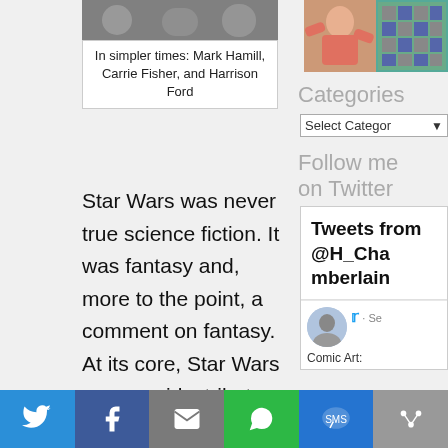[Figure (photo): Black and white photo strip — top portion of image showing Mark Hamill, Carrie Fisher, and Harrison Ford]
In simpler times: Mark Hamill, Carrie Fisher, and Harrison Ford
Star Wars was never true science fiction. It was fantasy and, more to the point, a comment on fantasy. At its core, Star Wars was a quirky tribute by George Lucas, a nostalgic look back to
[Figure (photo): Minecraft/pixel art icon thumbnail on the right sidebar]
[Figure (photo): Photo of a person (fitness/sports) on the right sidebar]
Categories
Select Category
Follow me on Twitter
Tweets from @H_Chamberlain
[Figure (screenshot): Twitter profile avatar photo of a person standing outdoors]
· Se
Comic Art: